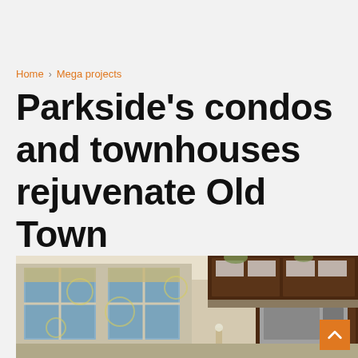Home > Mega projects
Parkside's condos and townhouses rejuvenate Old Town
dan schuyler   4/17/08
[Figure (photo): Interior photo of a modern kitchen with dark wood cabinets, stainless steel microwave, decorative wallpaper with circular floral pattern, and large windows with roller blinds.]